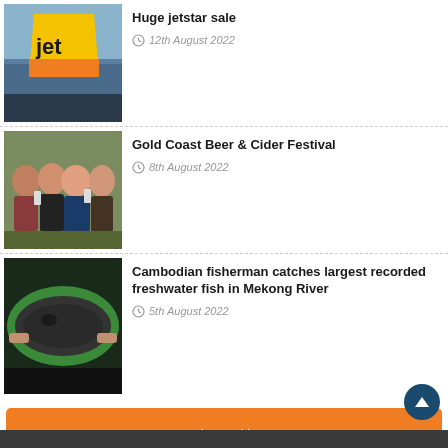[Figure (photo): Jetstar airplane tail with 'jet' text visible, orange and yellow livery]
Huge jetstar sale
12th August 2022
[Figure (photo): Group of people smiling outdoors, holding drinks at a festival]
Gold Coast Beer & Cider Festival
8th August 2022
[Figure (photo): Large freshwater fish being held by fisherman in green tarp, Mekong River]
Cambodian fisherman catches largest recorded freshwater fish in Mekong River
5th August 2022
[Figure (infographic): Orange podcast banner reading 'Podcasts — Conversations with tourism operators' with play arrow]